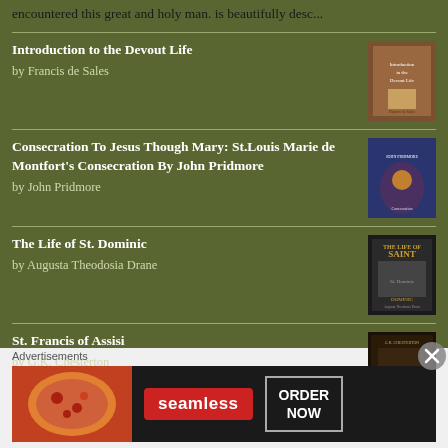encountered this great and holy man. is beautifully desc...
Introduction to the Devout Life by Francis de Sales
Consecration To Jesus Though Mary: St.Louis Marie de Montfort's Consecration By John Pridmore by John Pridmore
The Life of St. Dominic by Augusta Theodosia Drane
St. Francis of Assisi by G.K. Chesterton
Advertisements
[Figure (other): Seamless food delivery advertisement banner with pizza image, Seamless logo in red, and ORDER NOW button]